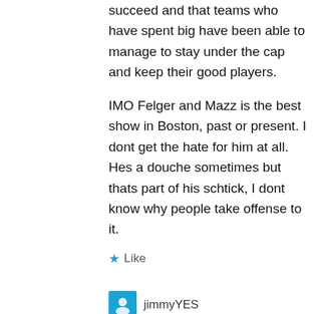succeed and that teams who have spent big have been able to manage to stay under the cap and keep their good players.

IMO Felger and Mazz is the best show in Boston, past or present. I dont get the hate for him at all. Hes a douche sometimes but thats part of his schtick, I dont know why people take offense to it.
Like
jimmyYES